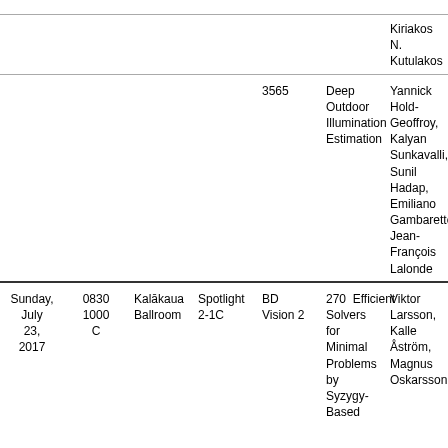| Date | Time/Room | Type | Track | ID | Title | Authors |
| --- | --- | --- | --- | --- | --- | --- |
|  |  |  |  |  |  | Kiriakos N. Kutulakos |
|  |  |  |  | 3565 | Deep Outdoor Illumination Estimation | Yannick Hold-Geoffroy, Kalyan Sunkavalli, Sunil Hadap, Emiliano Gambaretto, Jean-François Lalonde |
| Sunday, July 23, 2017 | 0830 1000 | Kalākaua Ballroom | Spotlight 2-1C | BD Vision 2 | 270 | Efficient Solvers for Minimal Problems by Syzygy-Based | Viktor Larsson, Kalle Åström, Magnus Oskarsson |